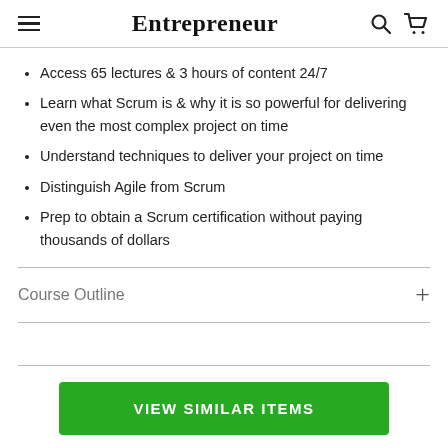Entrepreneur
Access 65 lectures & 3 hours of content 24/7
Learn what Scrum is & why it is so powerful for delivering even the most complex project on time
Understand techniques to deliver your project on time
Distinguish Agile from Scrum
Prep to obtain a Scrum certification without paying thousands of dollars
Course Outline
VIEW SIMILAR ITEMS